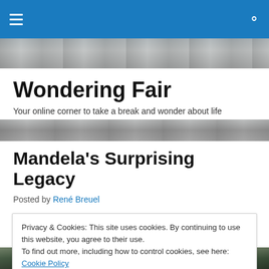Wondering Fair — navigation bar
[Figure (photo): Aerial/overhead view of people walking, blurred motion, header banner photo strip]
Wondering Fair
Your online corner to take a break and wonder about life
[Figure (photo): Overhead photo of people walking, blurred, second banner strip]
Mandela's Surprising Legacy
Posted by René Breuel
Today the world woke up to the news that a great leader
Privacy & Cookies: This site uses cookies. By continuing to use this website, you agree to their use.
To find out more, including how to control cookies, see here: Cookie Policy
[Figure (photo): Bottom strip photo, person in green/dark clothing]